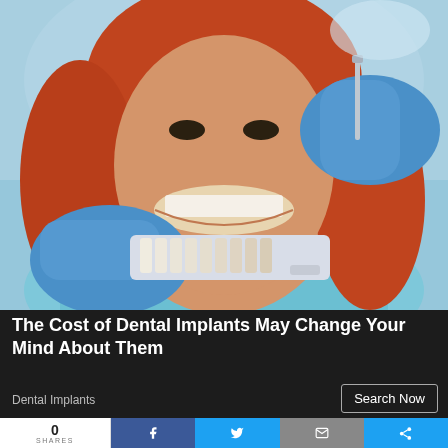[Figure (photo): A smiling woman with red hair sitting in a dental chair, wearing a light blue dental bib. A dental professional with blue latex gloves holds a tooth shade/color guide near her teeth on both sides.]
The Cost of Dental Implants May Change Your Mind About Them
Dental Implants
Search Now
0 SHARES | Facebook | Twitter | Email | Share